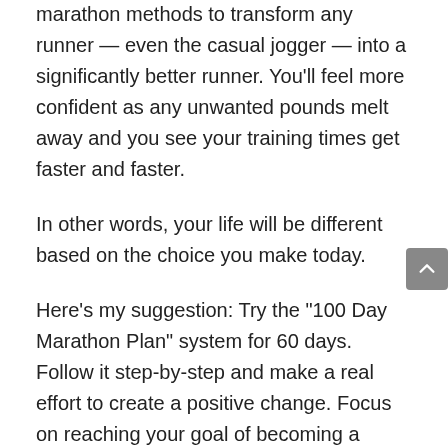hold-tested and proven to work modern marathon methods to transform any runner — even the casual jogger — into a significantly better runner. You'll feel more confident as any unwanted pounds melt away and you see your training times get faster and faster.
In other words, your life will be different based on the choice you make today.
Here's my suggestion: Try the “100 Day Marathon Plan” system for 60 days. Follow it step-by-step and make a real effort to create a positive change. Focus on reaching your goal of becoming a faster marathoner.
When your friends see the drastic changes, they're